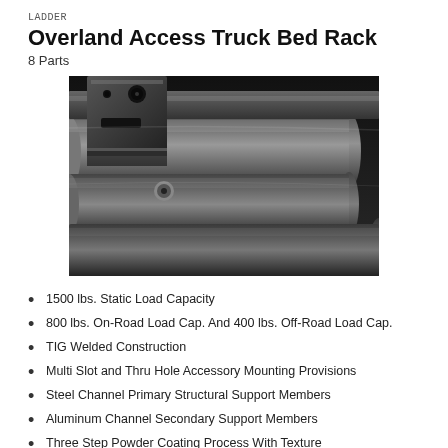LADDER
Overland Access Truck Bed Rack
8 Parts
[Figure (photo): Close-up black and white photo of a truck bed rack showing metal channel components, mounting hardware, and tubular structural elements]
1500 lbs. Static Load Capacity
800 lbs. On-Road Load Cap. And 400 lbs. Off-Road Load Cap.
TIG Welded Construction
Multi Slot and Thru Hole Accessory Mounting Provisions
Steel Channel Primary Structural Support Members
Aluminum Channel Secondary Support Members
Three Step Powder Coating Process With Texture